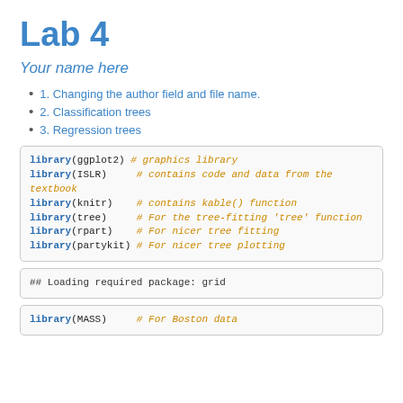Lab 4
Your name here
1. Changing the author field and file name.
2. Classification trees
3. Regression trees
library(ggplot2) # graphics library
library(ISLR)    # contains code and data from the textbook
library(knitr)   # contains kable() function
library(tree)    # For the tree-fitting 'tree' function
library(rpart)   # For nicer tree fitting
library(partykit) # For nicer tree plotting
## Loading required package: grid
library(MASS)    # For Boston data